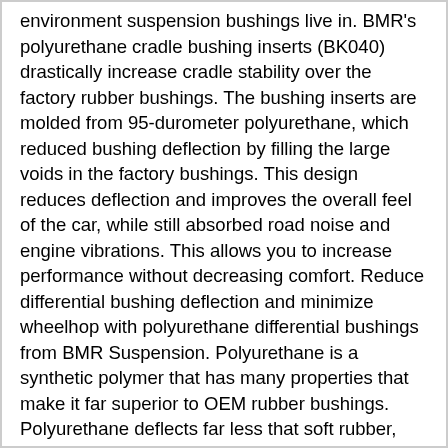environment suspension bushings live in. BMR's polyurethane cradle bushing inserts (BK040) drastically increase cradle stability over the factory rubber bushings. The bushing inserts are molded from 95-durometer polyurethane, which reduced bushing deflection by filling the large voids in the factory bushings. This design reduces deflection and improves the overall feel of the car, while still absorbed road noise and engine vibrations. This allows you to increase performance without decreasing comfort. Reduce differential bushing deflection and minimize wheelhop with polyurethane differential bushings from BMR Suspension. Polyurethane is a synthetic polymer that has many properties that make it far superior to OEM rubber bushings. Polyurethane deflects far less that soft rubber, and it doesn't breakdown from exposure to petroleum products, road salt, ozone, and other elements of the harsh undercar environment suspension bushings live in. BMR's polyurethane differential bushings (BK001) drastically increase differential stability over the factory rubber bushings. The bushings are molded from 68-durometer polyurethane, which reduced bushing deflection, while still absorbed road noise and engine vibrations. This allows you to increase performance without decreasing comfort. Designed for street performance applications, BMR differential bushings